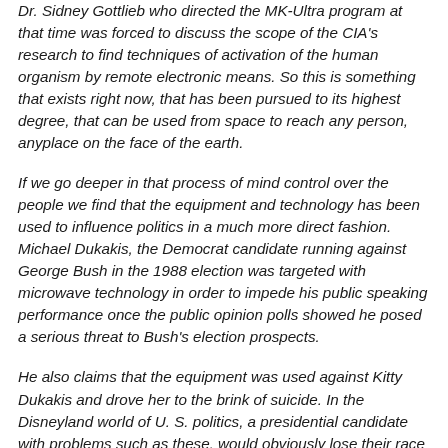Dr. Sidney Gottlieb who directed the MK-Ultra program at that time was forced to discuss the scope of the CIA's research to find techniques of activation of the human organism by remote electronic means. So this is something that exists right now, that has been pursued to its highest degree, that can be used from space to reach any person, anyplace on the face of the earth.
If we go deeper in that process of mind control over the people we find that the equipment and technology has been used to influence politics in a much more direct fashion. Michael Dukakis, the Democrat candidate running against George Bush in the 1988 election was targeted with microwave technology in order to impede his public speaking performance once the public opinion polls showed he posed a serious threat to Bush's election prospects.
He also claims that the equipment was used against Kitty Dukakis and drove her to the brink of suicide. In the Disneyland world of U. S. politics, a presidential candidate with problems such as these, would obviously lose their race to the White House. In the December 1980 edition of the U. S. Army Journal, called the Military Review, a column by Lt.